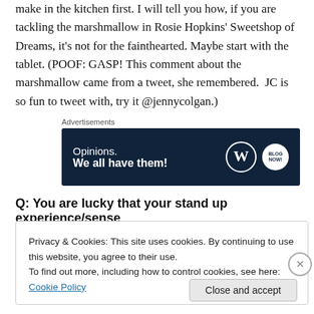make in the kitchen first. I will tell you how, if you are tackling the marshmallow in Rosie Hopkins' Sweetshop of Dreams, it's not for the fainthearted. Maybe start with the tablet. (POOF: GASP! This comment about the marshmallow came from a tweet, she remembered. JC is so fun to tweet with, try it @jennycolgan.)
[Figure (other): Wordpress advertisement banner with text 'Opinions. We all have them!' and WordPress and blog-related logos on dark navy background.]
Q: You are lucky that your stand up experience/sense
Privacy & Cookies: This site uses cookies. By continuing to use this website, you agree to their use.
To find out more, including how to control cookies, see here: Cookie Policy